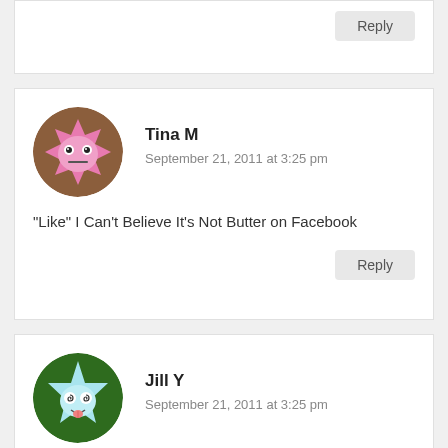Reply
[Figure (illustration): Circular avatar with pink gear/star character with eyes on brown background - Tina M avatar]
Tina M
September 21, 2011 at 3:25 pm
“Like” I Can’t Believe It’s Not Butter on Facebook
Reply
[Figure (illustration): Circular avatar with light blue star character with spiral eyes and tongue on dark green background - Jill Y avatar]
Jill Y
September 21, 2011 at 3:25 pm